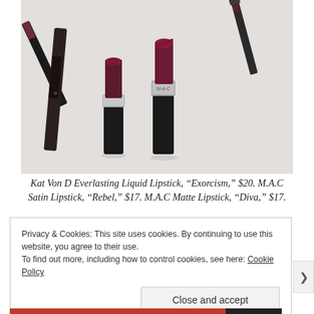[Figure (photo): Flat lay photo of makeup lipstick products on a light surface: Kat Von D liquid lipstick, two MAC lipsticks open showing dark burgundy/plum shades, and additional lip liner or lipstick products]
Kat Von D Everlasting Liquid Lipstick, “Exorcism,” $20. M.A.C Satin Lipstick, “Rebel,” $17. M.A.C Matte Lipstick, “Diva,” $17.
Privacy & Cookies: This site uses cookies. By continuing to use this website, you agree to their use.
To find out more, including how to control cookies, see here: Cookie Policy
Close and accept